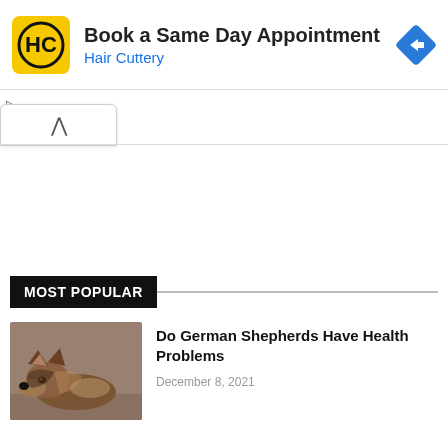[Figure (screenshot): Hair Cuttery advertisement banner with logo, title 'Book a Same Day Appointment', subtitle 'Hair Cuttery', and a blue navigation arrow icon]
[Figure (other): Collapse/chevron-up button UI element]
MOST POPULAR
[Figure (photo): German Shepherd dog lying down, looking at camera]
Do German Shepherds Have Health Problems
December 8, 2021